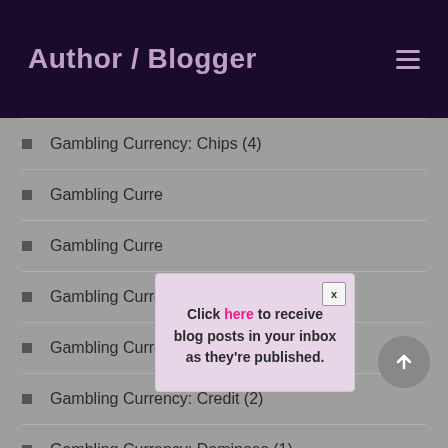Author / Blogger
Gambling Currency: Chips (4)
Gambling Curre…
Gambling Curre…
Gambling Curre…
Gambling Currency: Counterfeit (1)
Gambling Currency: Credit (2)
Gambling Currency: Dominoes (1)
[Figure (other): Popup modal with text: Click here to receive blog posts in your inbox as they're published.]